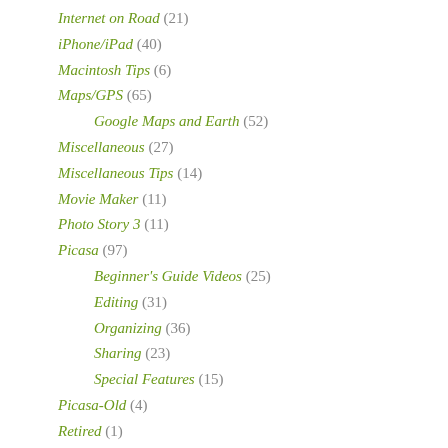Internet on Road (21)
iPhone/iPad (40)
Macintosh Tips (6)
Maps/GPS (65)
Google Maps and Earth (52)
Miscellaneous (27)
Miscellaneous Tips (14)
Movie Maker (11)
Photo Story 3 (11)
Picasa (97)
Beginner's Guide Videos (25)
Editing (31)
Organizing (36)
Sharing (23)
Special Features (15)
Picasa-Old (4)
Retired (1)
Smartphones and Tablets (197)
Android (68)
Apple iPhone/iPad (59)
Windows 7 (2)